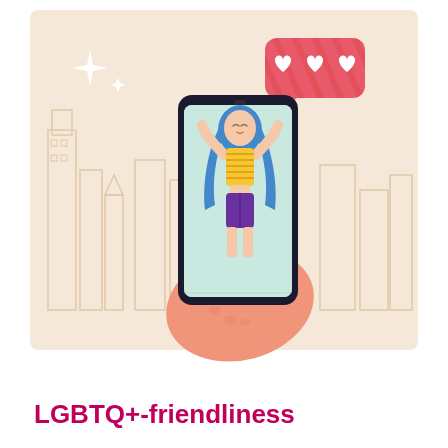[Figure (illustration): Illustration of a hand holding a smartphone. On the phone screen is a woman with long blue hair wearing a yellow striped top and purple shorts, posing with arms raised. In the upper right of the image is a pink/red speech bubble with three white heart icons. The background shows a light beige cityscape outline with buildings. There are sparkle/star decorations in the upper left area of the background.]
LGBTQ+-friendliness